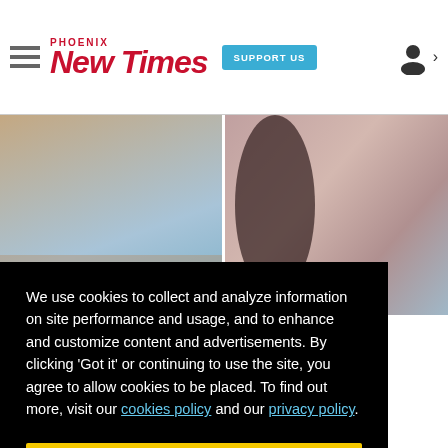Phoenix New Times
[Figure (screenshot): Cookie consent overlay on Phoenix New Times website showing two photos of people at the top, a black cookie notice banner with yellow 'Got it!' button, and the New Times logo and tagline at the bottom]
We use cookies to collect and analyze information on site performance and usage, and to enhance and customize content and advertisements. By clicking 'Got it' or continuing to use the site, you agree to allow cookies to be placed. To find out more, visit our cookies policy and our privacy policy.
Got it!
New Times — Music news, free stuff and